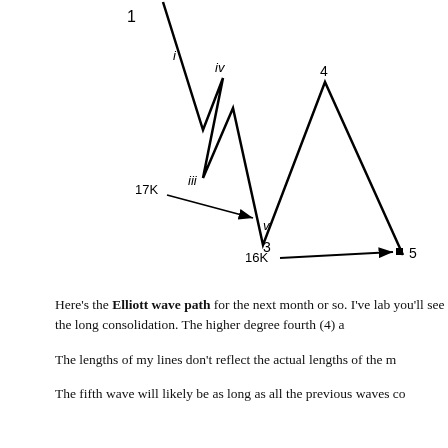[Figure (other): Elliott wave diagram showing a 5-wave pattern (impulse down). Labels: wave 1 at top left, waves i, ii, iii, iv, v inside wave 3, waves 3, 4, 5 at larger degree. Price levels 17K (pointing to wave v / bottom of 3) and 16K (pointing to wave 5). Zigzag lines descend from upper left to lower right with corrective bounces.]
Here’s the Elliott wave path for the next month or so. I’ve lab you’ll see the long consolidation. The higher degree fourth (4) a
The lengths of my lines don’t reflect the actual lengths of the m
The fifth wave will likely be as long as all the previous waves co